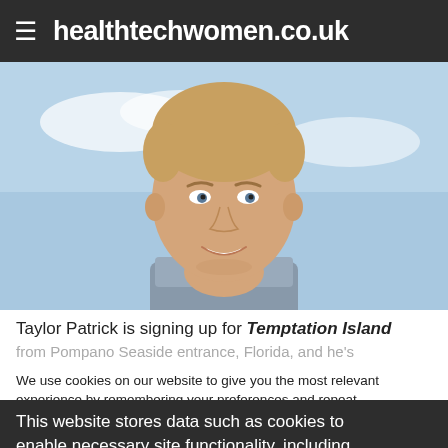healthtechwomen.co.uk
[Figure (photo): Smiling young man with short blonde hair wearing a casual shirt, against a blue sky background]
Taylor Patrick is signing up for Temptation Island from Pompano Seaside entrance, Florida, and he's
We use cookies on our website to give you the most relevant experience by remembering your preferences and repeat visits. By clicking "Accept All", you consent to the use of ALL the cookies. provide a controlled consent.
This website stores data such as cookies to enable necessary site functionality, including analytics, targeting, and personalization. By remaining on this website you indicate your consent Cookie Policy